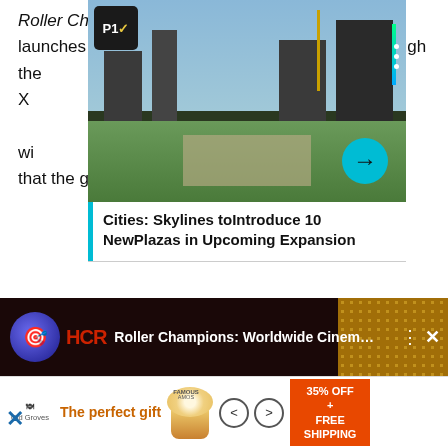Roller Champions ... hen it launches o ... le on PC through the ... 5, Xbox One, and X ... dy comes with cross- ... ayers can team up wi ... regardless ... ioned that the game is
[Figure (screenshot): Cities: Skylines game screenshot showing city plaza with overlay card titled 'Cities: Skylines toIntroduce 10 NewPlazas in Upcoming Expansion']
In addition to the platforms mentioned, Roller Champions is also launching soon on Nintendo Switch, Stadia, and Amazon Luna. It's also planned to be available on the Epic Games Store at a later date.
[Figure (screenshot): Roller Champions: Worldwide Cinema... video thumbnail]
[Figure (other): Advertisement: The perfect gift - 35% OFF + FREE SHIPPING]